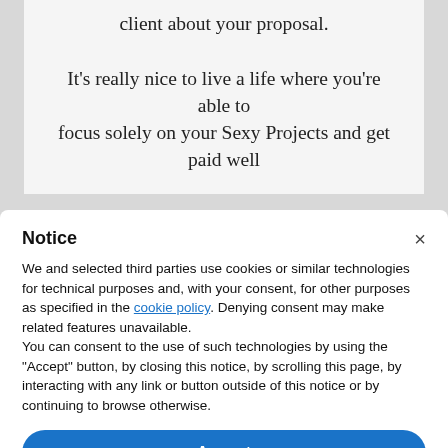client about your proposal.
It’s really nice to live a life where you’re able to focus solely on your Sexy Projects and get paid well
Notice
We and selected third parties use cookies or similar technologies for technical purposes and, with your consent, for other purposes as specified in the cookie policy. Denying consent may make related features unavailable.
You can consent to the use of such technologies by using the “Accept” button, by closing this notice, by scrolling this page, by interacting with any link or button outside of this notice or by continuing to browse otherwise.
Accept
Learn more and customize